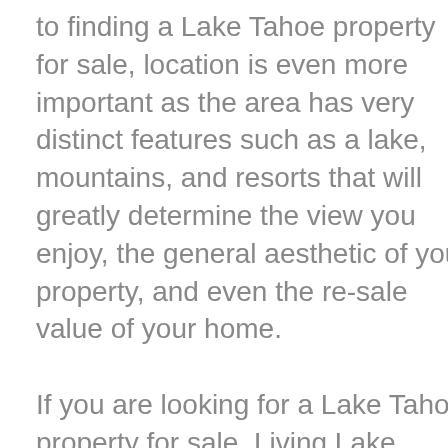to finding a Lake Tahoe property for sale, location is even more important as the area has very distinct features such as a lake, mountains, and resorts that will greatly determine the view you enjoy, the general aesthetic of your property, and even the re-sale value of your home.
If you are looking for a Lake Tahoe property for sale, Living Lake Tahoe